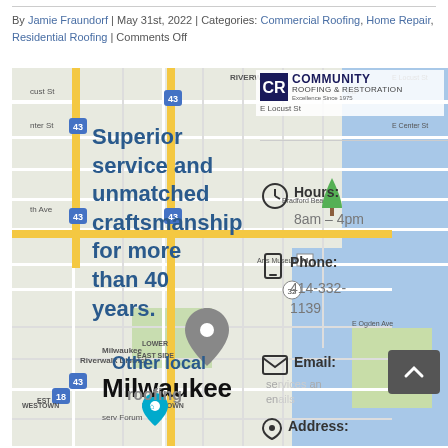By Jamie Fraundorf | May 31st, 2022 | Categories: Commercial Roofing, Home Repair, Residential Roofing | Comments Off
[Figure (map): Google Maps screenshot showing Milwaukee area with Community Roofing & Restoration business listing overlay. Overlay text reads: Superior service and unmatched craftsmanship for more than 40 years. Hours: 8am–4pm. Phone: 414-332-1139. Email: [partially visible]. Address: [partially visible]. Milwaukee label visible at bottom.]